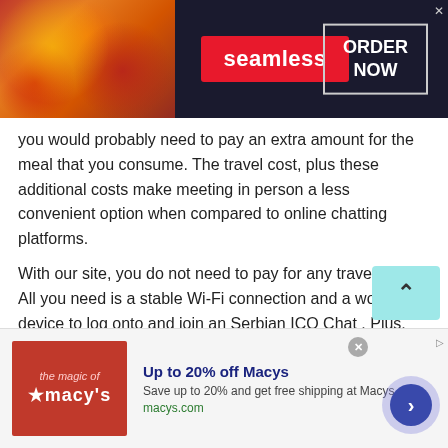[Figure (screenshot): Seamless food delivery advertisement banner with pizza image on left, Seamless logo in red badge in center, ORDER NOW button with border on right, dark background]
you would probably need to pay an extra amount for the meal that you consume. The travel cost, plus these additional costs make meeting in person a less convenient option when compared to online chatting platforms.
With our site, you do not need to pay for any travel costs. All you need is a stable Wi-Fi connection and a working device to log onto and join an Serbian ICQ Chat . Plus, there is no additional fees of registration since our site is absolutely free !
[Figure (screenshot): Macy's advertisement banner at bottom: Macy's red logo on left, text 'Up to 20% off Macys' in bold blue, 'Save up to 20% and get free shipping at Macys.com', 'macys.com' in green, navigation arrow button on right]